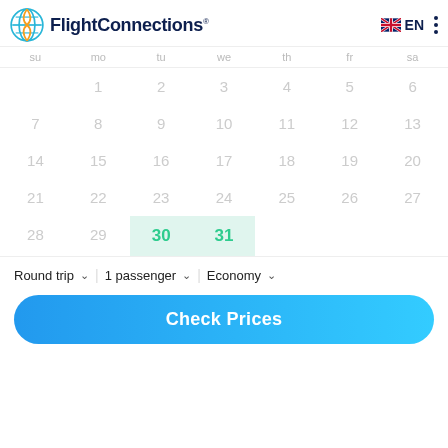FlightConnections EN
[Figure (screenshot): Calendar grid showing days 1–31 with days 30 and 31 highlighted in green/teal background]
Round trip  1 passenger  Economy
Check Prices